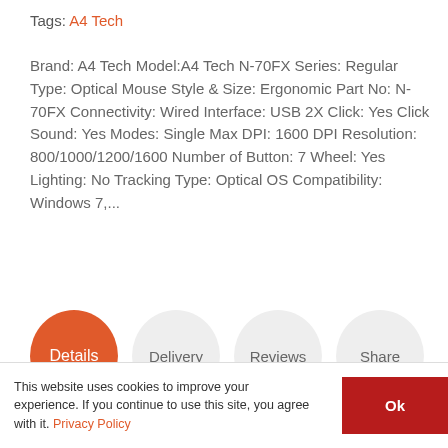Tags: A4 Tech
Brand: A4 Tech Model:A4 Tech N-70FX Series: Regular Type: Optical Mouse Style & Size: Ergonomic Part No: N-70FX Connectivity: Wired Interface: USB 2X Click: Yes Click Sound: Yes Modes: Single Max DPI: 1600 DPI Resolution: 800/1000/1200/1600 Number of Button: 7 Wheel: Yes Lighting: No Tracking Type: Optical OS Compatibility: Windows 7,...
[Figure (other): Four circular navigation buttons: Details (active, orange), Delivery, Reviews, Share]
This website uses cookies to improve your experience. If you continue to use this site, you agree with it. Privacy Policy